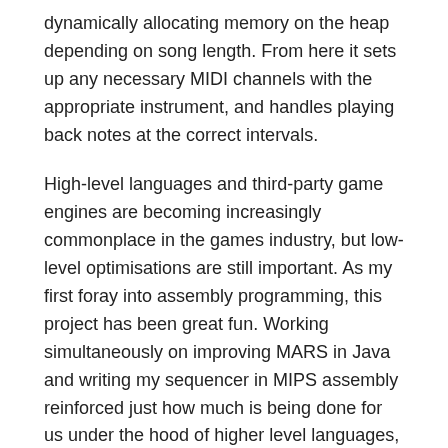dynamically allocating memory on the heap depending on song length. From here it sets up any necessary MIDI channels with the appropriate instrument, and handles playing back notes at the correct intervals.
High-level languages and third-party game engines are becoming increasingly commonplace in the games industry, but low-level optimisations are still important. As my first foray into assembly programming, this project has been great fun. Working simultaneously on improving MARS in Java and writing my sequencer in MIPS assembly reinforced just how much is being done for us under the hood of higher level languages, and how much we take for granted.